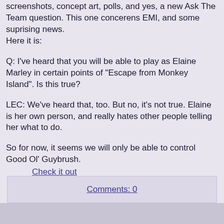screenshots, concept art, polls, and yes, a new Ask The Team question. This one concerens EMI, and some suprising news.
Here it is:
Q: I've heard that you will be able to play as Elaine Marley in certain points of "Escape from Monkey Island". Is this true?
LEC: We've heard that, too. But no, it's not true. Elaine is her own person, and really hates other people telling her what to do.
So for now, it seems we will only be able to control Good Ol' Guybrush.
Check it out
Comments: 0